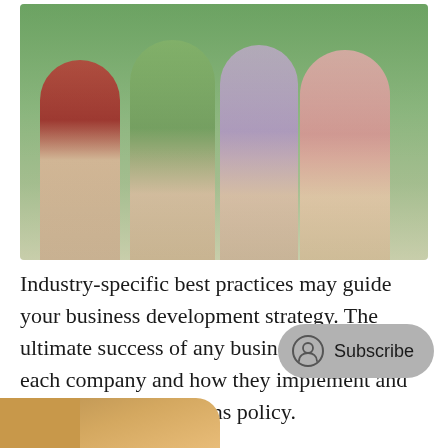[Figure (photo): Four smiling senior adults walking together on a golf course, carrying golf bags and clubs. Two women and two men, dressed casually in colorful polo shirts and khaki pants.]
Industry-specific best practices may guide your business development strategy. The ultimate success of any business is unique to each company and how they implement and manage their operations policy.